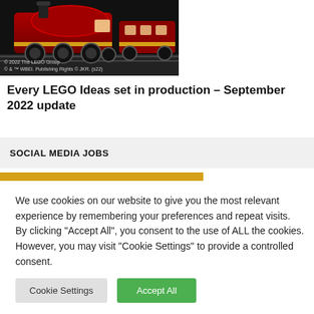[Figure (photo): LEGO Hogwarts Express train model photograph on dark background with copyright text: © 2022 The LEGO Group, © & ™ WBEI, Publishing Rights © JKR. (s22)]
Every LEGO Ideas set in production – September 2022 update
SOCIAL MEDIA JOBS
We use cookies on our website to give you the most relevant experience by remembering your preferences and repeat visits. By clicking "Accept All", you consent to the use of ALL the cookies. However, you may visit "Cookie Settings" to provide a controlled consent.